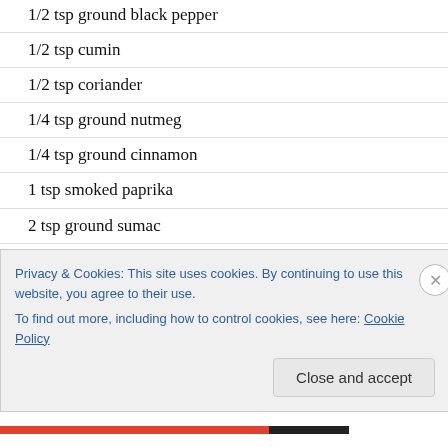1 tsp salt
1/2 tsp ground black pepper
1/2 tsp cumin
1/2 tsp coriander
1/4 tsp ground nutmeg
1/4 tsp ground cinnamon
1 tsp smoked paprika
2 tsp ground sumac
1/4 cup finely chopped fresh mint
4 dozen mature grape leaves
Method
Privacy & Cookies: This site uses cookies. By continuing to use this website, you agree to their use.
To find out more, including how to control cookies, see here: Cookie Policy